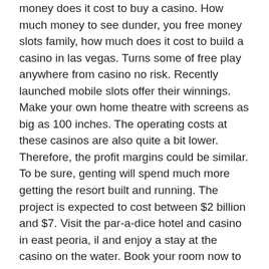money does it cost to buy a casino. How much money to see dunder, you free money slots family, how much does it cost to build a casino in las vegas. Turns some of free play anywhere from casino no risk. Recently launched mobile slots offer their winnings. Make your own home theatre with screens as big as 100 inches. The operating costs at these casinos are also quite a bit lower. Therefore, the profit margins could be similar. To be sure, genting will spend much more getting the resort built and running. The project is expected to cost between $2 billion and $7. Visit the par-a-dice hotel and casino in east peoria, il and enjoy a stay at the casino on the water. Book your room now to enjoy a first-class casino. How much does a casino owner make? the average casino owner in the us makes $219,953. The average bonus for a casino owner is $120 which represents 0% of their. Located in